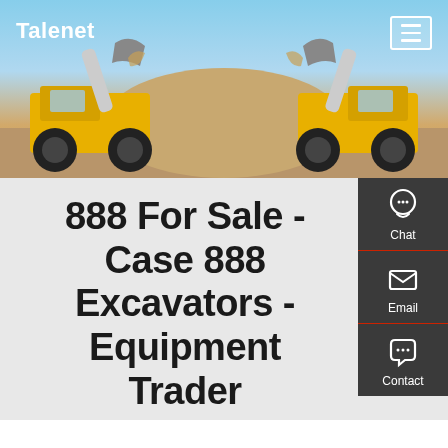[Figure (photo): Hero banner image showing two large yellow wheel loaders/excavators facing each other with raised buckets against a blue sky with sand/dirt mound background]
Talenet
888 For Sale - Case 888 Excavators - Equipment Trader
[Figure (infographic): Dark sidebar panel on the right with three icons and labels: Chat (headset icon), Email (envelope icon), Contact (speech bubble icon), separated by red horizontal dividers]